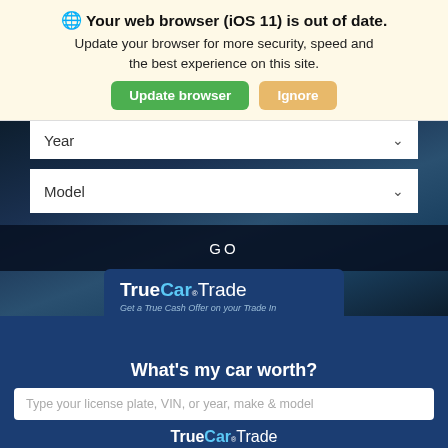🌐 Your web browser (iOS 11) is out of date. Update your browser for more security, speed and the best experience on this site.
Update browser | Ignore
Year
Model
GO
[Figure (screenshot): TrueCar Trade widget card with logo, tagline 'Get a True Cash Offer on your Trade In', heading 'What's my car worth?', and a text input field 'Type your license plate, VIN, or year, make & model', with TrueCar Trade footer logo]
This site uses cookies.
OK